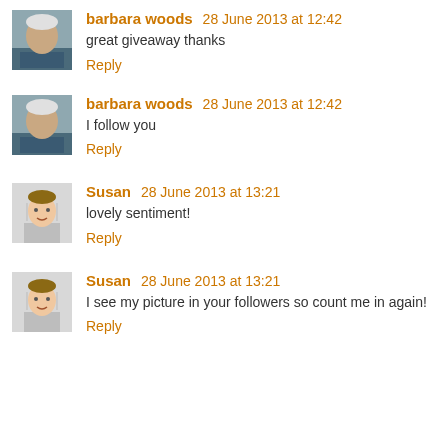[Figure (photo): Avatar photo of barbara woods, elderly woman]
barbara woods 28 June 2013 at 12:42
great giveaway thanks
Reply
[Figure (photo): Avatar photo of barbara woods, elderly woman]
barbara woods 28 June 2013 at 12:42
I follow you
Reply
[Figure (photo): Avatar photo of Susan]
Susan 28 June 2013 at 13:21
lovely sentiment!
Reply
[Figure (photo): Avatar photo of Susan]
Susan 28 June 2013 at 13:21
I see my picture in your followers so count me in again!
Reply